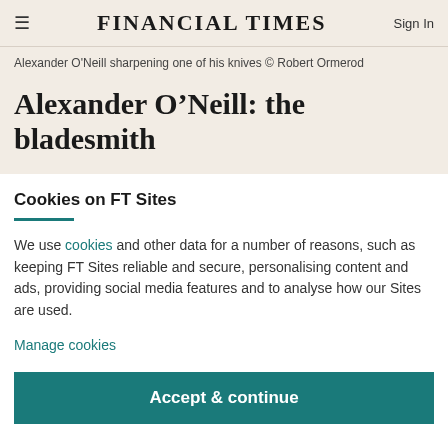FINANCIAL TIMES | Sign In
Alexander O'Neill sharpening one of his knives © Robert Ormerod
Alexander O'Neill: the bladesmith
Cookies on FT Sites
We use cookies and other data for a number of reasons, such as keeping FT Sites reliable and secure, personalising content and ads, providing social media features and to analyse how our Sites are used.
Manage cookies
Accept & continue